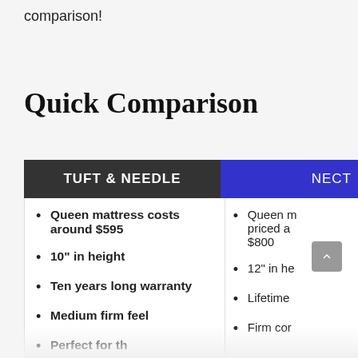comparison!
Quick Comparison
| TUFT & NEEDLE | NECT(AR) |
| --- | --- |
| Queen mattress costs around $595 | 10" in height | Ten years long warranty | Medium firm feel | Perfect for th... | Queen m... priced a... $800 | 12" in he... | Lifetime... | Firm cor... | Perfect f... |